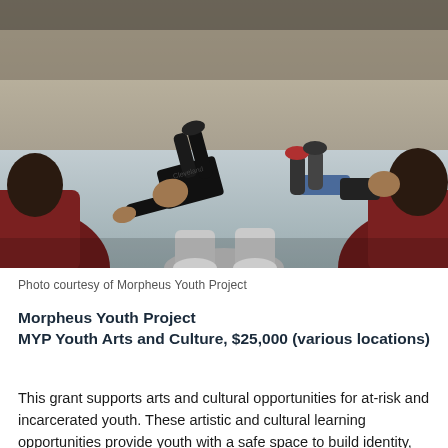[Figure (photo): Photograph of youth breakdancing on a gym floor, viewed from behind seated observers in the foreground. One dancer is performing a low move with hand on the floor, another is lying on their back with legs up. The setting appears to be a gymnasium or community center.]
Photo courtesy of Morpheus Youth Project
Morpheus Youth Project
MYP Youth Arts and Culture, $25,000 (various locations)
This grant supports arts and cultural opportunities for at-risk and incarcerated youth. These artistic and cultural learning opportunities provide youth with a safe space to build identity, create community connections and experience new creative outlets.